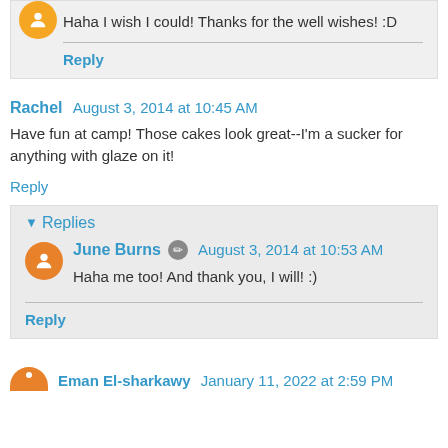Haha I wish I could! Thanks for the well wishes! :D
Reply
Rachel  August 3, 2014 at 10:45 AM
Have fun at camp! Those cakes look great--I'm a sucker for anything with glaze on it!
Reply
Replies
June Burns  August 3, 2014 at 10:53 AM
Haha me too! And thank you, I will! :)
Reply
Eman El-sharkawy  January 11, 2022 at 2:59 PM